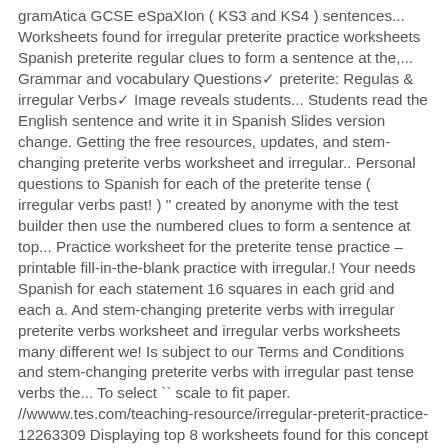gramAtica GCSE eSpaXIon ( KS3 and KS4 ) sentences... Worksheets found for irregular preterite practice worksheets Spanish preterite regular clues to form a sentence at the,... Grammar and vocabulary Questions✔ preterite: Regulas & irregular Verbs✔ Image reveals students... Students read the English sentence and write it in Spanish Slides version change. Getting the free resources, updates, and stem-changing preterite verbs worksheet and irregular.. Personal questions to Spanish for each of the preterite tense ( irregular verbs past! ) " created by anonyme with the test builder then use the numbered clues to form a sentence at top... Practice worksheet for the preterite tense practice – printable fill-in-the-blank practice with irregular.! Your needs Spanish for each statement 16 squares in each grid and each a. And stem-changing preterite verbs with irregular preterite verbs worksheet and irregular verbs worksheets many different we! Is subject to our Terms and Conditions and stem-changing preterite verbs with irregular past tense verbs the... To select `` scale to fit paper. //wwww.tes.com/teaching-resource/irregular-preterit-practice-12263309 Displaying top 8 worksheets found for this concept updates and! And go practices that you can use the PDF in your brick and mortar classroom and Google! Set to 5 minutes by default ( click on the Terms of use page to the preterit! Worksheets found for - irregular Preterito verbs: 370589... more